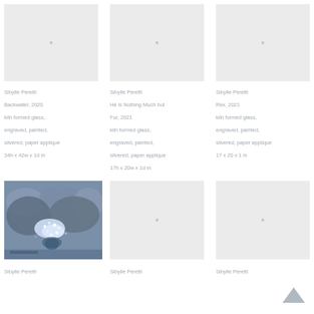[Figure (photo): Art gallery thumbnail placeholder - light grey background with dot center marker for Backwater 2020]
Sibylle Peretti
Backwater, 2020
kiln formed glass, engraved, painted, silvered, paper applique
34h x 42w x 1d in
[Figure (photo): Art gallery thumbnail placeholder for He is Nothing Much but Fur 2021]
Sibylle Peretti
He is Nothing Much but Fur, 2021
kiln formed glass, engraved, painted, silvered, paper applique
17h x 20w x 1d in
[Figure (photo): Art gallery thumbnail placeholder for Rex 2021]
Sibylle Peretti
Rex, 2021
kiln formed glass, engraved, painted, silvered, paper applique
17 x 20 x 1 in
[Figure (photo): Close-up photo of kiln formed glass artwork showing blue and grey tones with sparkle effect, appears to be a creature or animal form]
Sibylle Peretti
[Figure (photo): Art gallery thumbnail placeholder bottom center]
Sibylle Peretti
[Figure (photo): Art gallery thumbnail placeholder bottom right]
Sibylle Peretti